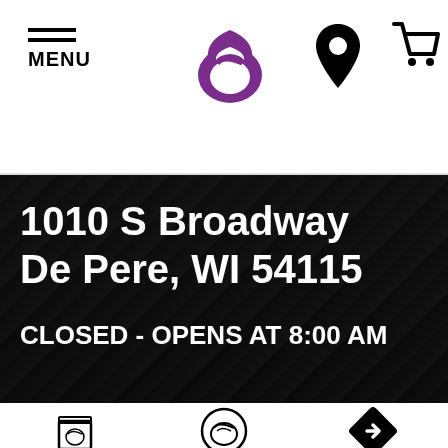MENU
1010 S Broadway
De Pere, WI 54115
CLOSED - OPENS AT 8:00 AM
[Figure (logo): Taco Bell bag icon]
[Figure (logo): Taco Bell circular logo icon]
[Figure (logo): Navigation/directions arrow icon (diamond-shaped)]